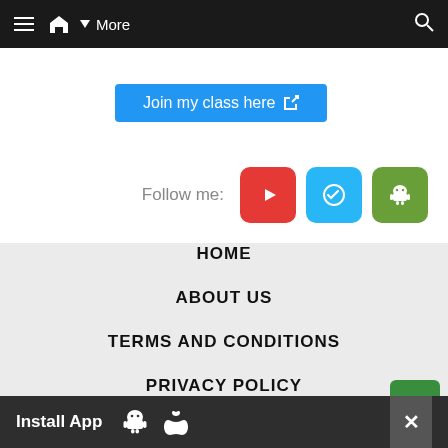≡ 🏠 ▾ More  🔍
[Figure (screenshot): Blue button labeled 'Join my class here' with external link icon]
Follow me:
[Figure (illustration): Social media icons: YouTube (red), Telegram (blue), Android (green)]
HOME
ABOUT US
TERMS AND CONDITIONS
PRIVACY POLICY
[Figure (illustration): Green floating action button with thumbs-up/hand icon]
Install App  [Android icon] [Apple icon]  ✕